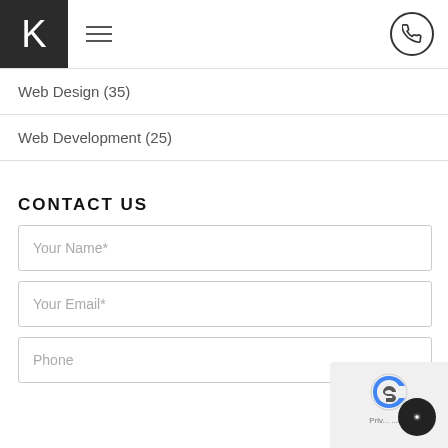K — navigation header with hamburger menu and phone button
Web Design (35)
Web Development (25)
CONTACT US
Your Name*
Your Email*
Phone